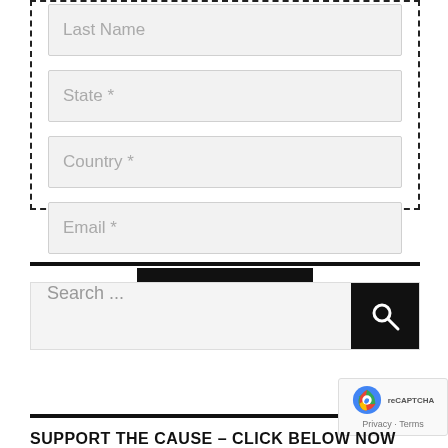[Figure (screenshot): Web form with dashed border containing input fields for Last Name, State, Country, Email, and a Submit button]
Last Name
State *
Country *
Email *
SUBMIT
Search ...
Privacy · Terms
SUPPORT THE CAUSE – CLICK BELOW NOW